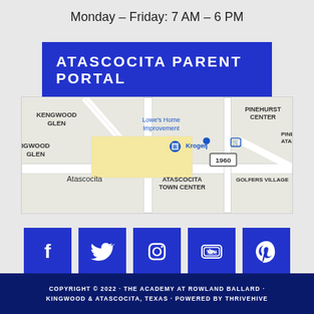Monday – Friday: 7 AM – 6 PM
ATASCOCITA PARENT PORTAL
[Figure (map): Google Maps showing Atascocita area including Kengwood Glen, Lowe's Home Improvement, Kroger, Pinehurst Center, Atascocita Town Center, Golfers Village neighborhood]
[Figure (infographic): Row of 5 social media icon buttons in blue: Facebook, Twitter, Instagram, YouTube, Pinterest]
COPYRIGHT © 2022 · THE ACADEMY AT ROWLAND BALLARD · KINGWOOD & ATASCOCITA, TEXAS · POWERED BY THRIVEHIVE